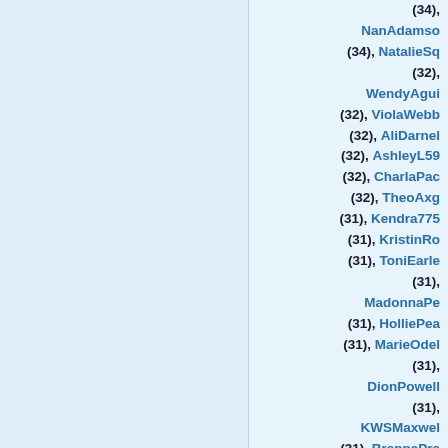(34), NanAdamso (34), NatalieSq (32), WendyAgui (32), ViolaWebb (32), AliDarnel (32), AshleyL59 (32), CharlaPac (32), TheoAxg (31), Kendra775 (31), KristinRo (31), ToniEarle (31), MadonnaPe (31), HolliePea (31), MarieOdel (31), DionPowell (31), KWSMaxwel (31), BrennaPre (31), Rayyqtrgb (30), VioletDun (30), JaniceBin (30), Valeria96 (30), AmyHarris (30), MichelleS